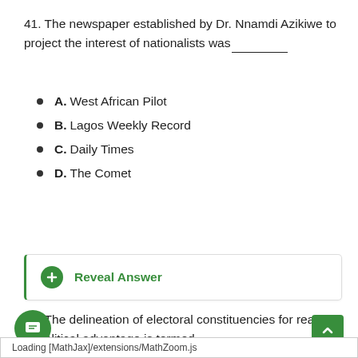41. The newspaper established by Dr. Nnamdi Azikiwe to project the interest of nationalists was________
A. West African Pilot
B. Lagos Weekly Record
C. Daily Times
D. The Comet
+ Reveal Answer
42. The delineation of electoral constituencies for reasons of political advantage is termed__________